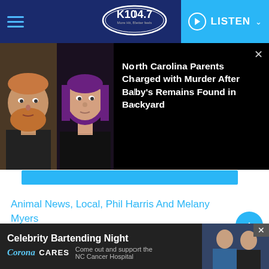K104.7 FM — LISTEN
[Figure (photo): News article overlay showing two mugshot photos (male with beard, female with purple hair) on black background with headline: North Carolina Parents Charged with Murder After Baby's Remains Found in Backyard]
Animal News, Local, Phil Harris And Melany Myers
TAGS  Animal Rescue, Animals, Local, Pet Adoption, Phil And Mel, Puppies
Celebrity Bartending Night — Corona Cares — Come out and support the NC Cancer Hospital